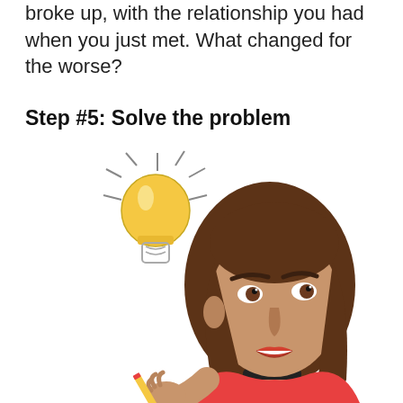compare the relationship you had just before you broke up, with the relationship you had when you just met. What changed for the worse?
Step #5: Solve the problem
[Figure (illustration): Illustration of a woman with long brown hair holding a pencil and looking upward thoughtfully, with a glowing lightbulb next to her head suggesting an idea or solving a problem. She wears a red top and black choker.]